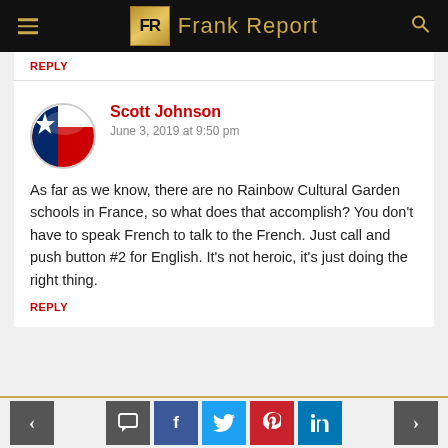Frank Report
REPLY
Scott Johnson
June 3, 2019 at 9:50 pm
As far as we know, there are no Rainbow Cultural Garden schools in France, so what does that accomplish? You don't have to speak French to talk to the French. Just call and push button #2 for English. It's not heroic, it's just doing the right thing.
REPLY
Social sharing and navigation buttons